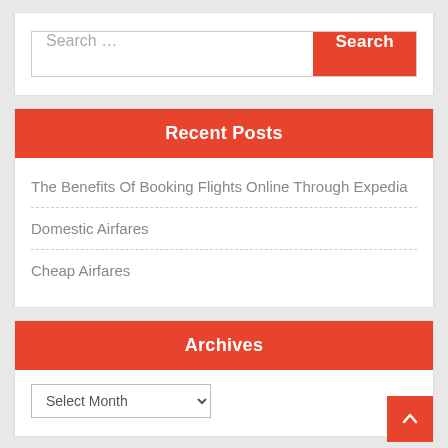[Figure (screenshot): Search bar with placeholder text 'Search ...' and a red 'Search' button on the right]
Recent Posts
The Benefits Of Booking Flights Online Through Expedia
Domestic Airfares
Cheap Airfares
Archives
Select Month